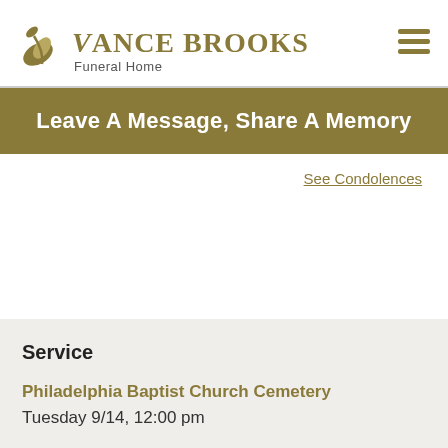Vance Brooks Funeral Home
Leave A Message, Share A Memory
See Condolences
Service
Philadelphia Baptist Church Cemetery
Tuesday 9/14, 12:00 pm